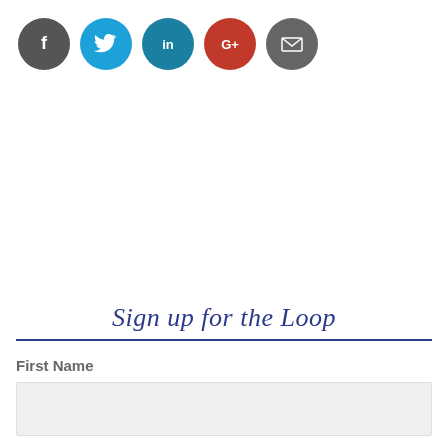[Figure (infographic): Five social media icon circles in a row: Facebook (dark gray), Twitter (blue), LinkedIn (teal), Google+ (red), Email/envelope (dark gray)]
Sign up for the Loop
First Name
[Figure (other): Empty text input field with light gray background for First Name entry]